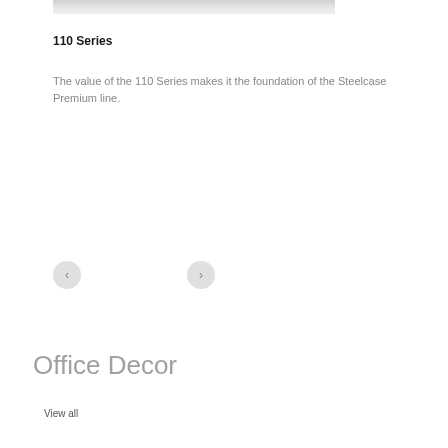[Figure (photo): Partial top edge of a product photo showing the 110 Series furniture item, cropped at the top of the page.]
110 Series
The value of the 110 Series makes it the foundation of the Steelcase Premium line.
[Figure (other): Navigation controls with left and right arrow buttons (< and >) for cycling through images.]
Office Decor
View all